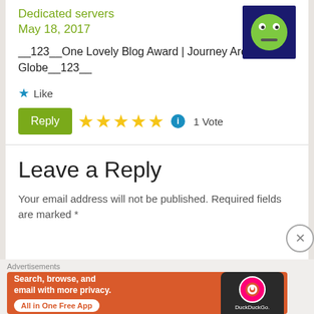Dedicated servers
May 18, 2017
[Figure (photo): User avatar: green emoji face on dark blue background]
__123__One Lovely Blog Award | Journey Around The Globe__123__
★ Like
[Figure (other): Reply button with 5 gold stars, info icon, and 1 Vote text]
Leave a Reply
Your email address will not be published. Required fields are marked *
Advertisements
[Figure (screenshot): DuckDuckGo advertisement banner: Search, browse, and email with more privacy. All in One Free App. Shows phone with DuckDuckGo logo.]